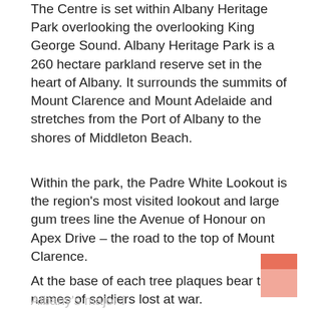The Centre is set within Albany Heritage Park overlooking the overlooking King George Sound. Albany Heritage Park is a 260 hectare parkland reserve set in the heart of Albany. It surrounds the summits of Mount Clarence and Mount Adelaide and stretches from the Port of Albany to the shores of Middleton Beach.
Within the park, the Padre White Lookout is the region's most visited lookout and large gum trees line the Avenue of Honour on Apex Drive – the road to the top of Mount Clarence.
At the base of each tree plaques bear the names of soldiers lost at war.
Albany's major f